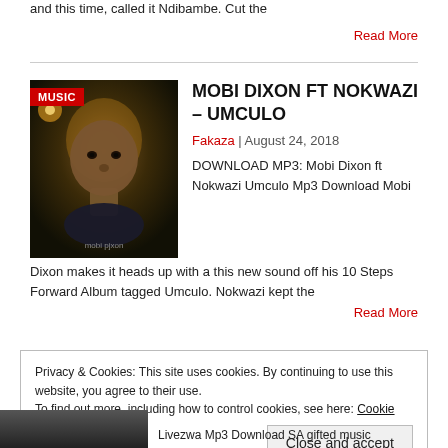and this time, called it Ndibambe.  Cut the
Read More
MOBI DIXON FT NOKWAZI – UMCULO
Fakaza  |  August 24, 2018
DOWNLOAD MP3: Mobi Dixon ft Nokwazi Umculo Mp3 Download Mobi Dixon makes it heads up with a this new sound off his 10 Steps Forward Album tagged Umculo.  Nokwazi kept the
Read More
Privacy & Cookies: This site uses cookies. By continuing to use this website, you agree to their use.
To find out more, including how to control cookies, see here: Cookie Policy
Close and accept
Livezwa Mp3 Download SA gifted music